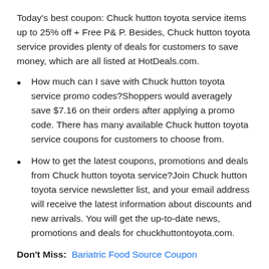Today's best coupon: Chuck hutton toyota service items up to 25% off + Free P& P. Besides, Chuck hutton toyota service provides plenty of deals for customers to save money, which are all listed at HotDeals.com.
How much can I save with Chuck hutton toyota service promo codes?Shoppers would averagely save $7.16 on their orders after applying a promo code. There has many available Chuck hutton toyota service coupons for customers to choose from.
How to get the latest coupons, promotions and deals from Chuck hutton toyota service?Join Chuck hutton toyota service newsletter list, and your email address will receive the latest information about discounts and new arrivals. You will get the up-to-date news, promotions and deals for chuckhuttontoyota.com.
Don't Miss:  Bariatric Food Source Coupon